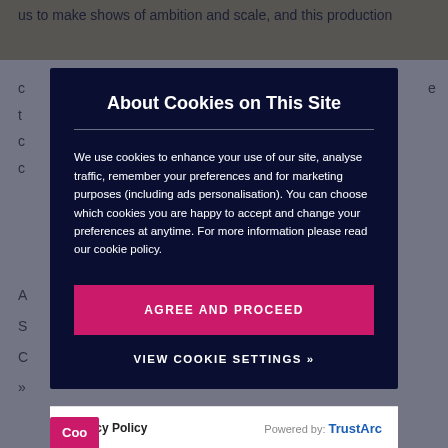us to make shows of ambition and scale, and this production
About Cookies on This Site
We use cookies to enhance your use of our site, analyse traffic, remember your preferences and for marketing purposes (including ads personalisation). You can choose which cookies you are happy to accept and change your preferences at anytime. For more information please read our cookie policy.
AGREE AND PROCEED
VIEW COOKIE SETTINGS »
Privacy Policy    Powered by: TrustArc